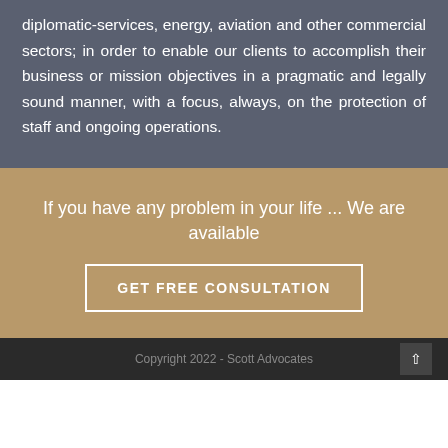diplomatic-services, energy, aviation and other commercial sectors; in order to enable our clients to accomplish their business or mission objectives in a pragmatic and legally sound manner, with a focus, always, on the protection of staff and ongoing operations.
If you have any problem in your life ... We are available
GET FREE CONSULTATION
Copyright 2022 - Scott Advocates